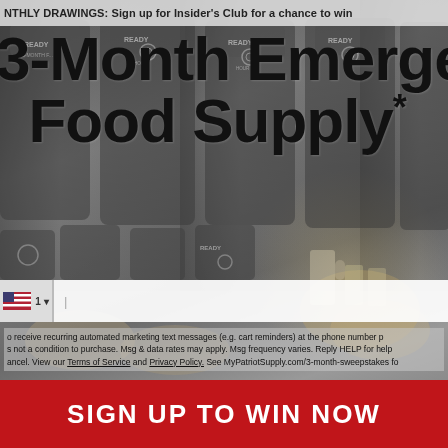MONTHLY DRAWINGS: Sign up for Insider's Club for a chance to win
3-Month Emergency Food Supply*
[Figure (photo): Background photo of Ready Hour emergency food supply buckets and prepared food dishes including beverages and plates of food]
o receive recurring automated marketing text messages (e.g. cart reminders) at the phone number p s not a condition to purchase. Msg & data rates may apply. Msg frequency varies. Reply HELP for help ancel. View our Terms of Service and Privacy Policy. See MyPatriotSupply.com/3-month-sweepstakes fo
SIGN UP TO WIN NOW